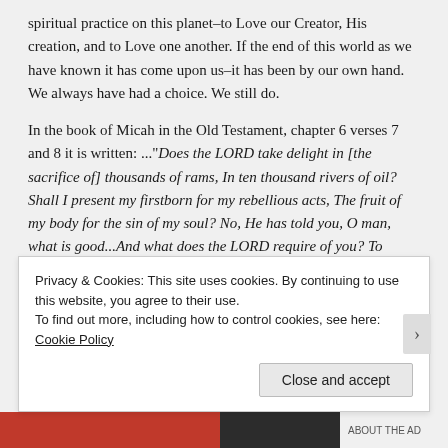spiritual practice on this planet–to Love our Creator, His creation, and to Love one another. If the end of this world as we have known it has come upon us–it has been by our own hand. We always have had a choice. We still do.

In the book of Micah in the Old Testament, chapter 6 verses 7 and 8 it is written: ..."Does the LORD take delight in [the sacrifice of] thousands of rams, In ten thousand rivers of oil? Shall I present my firstborn for my rebellious acts, The fruit of my body for the sin of my soul? No, He has told you, O man, what is good...And what does the LORD require of you? To practice justice, to love kindness, And to walk humbly with your
Privacy & Cookies: This site uses cookies. By continuing to use this website, you agree to their use.
To find out more, including how to control cookies, see here: Cookie Policy
Close and accept